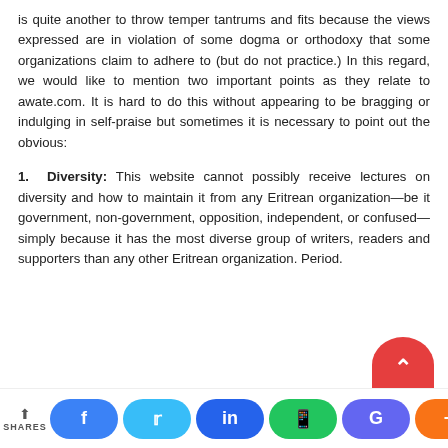is quite another to throw temper tantrums and fits because the views expressed are in violation of some dogma or orthodoxy that some organizations claim to adhere to (but do not practice.) In this regard, we would like to mention two important points as they relate to awate.com. It is hard to do this without appearing to be bragging or indulging in self-praise but sometimes it is necessary to point out the obvious:
1. Diversity: This website cannot possibly receive lectures on diversity and how to maintain it from any Eritrean organization—be it government, non-government, opposition, independent, or confused—simply because it has the most diverse group of writers, readers and supporters than any other Eritrean organization. Period.
[Figure (other): Social sharing bar at bottom with share icon, Facebook, Twitter, LinkedIn, WhatsApp, Google, and plus buttons. Red scroll-to-top button visible above bar on right side.]